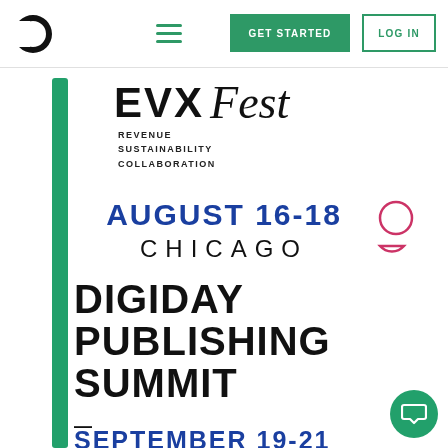[Figure (logo): Digiday circular logo (C-shaped) in black, top left of navigation bar]
[Figure (infographic): Hamburger menu icon (three green horizontal lines) in navigation bar]
[Figure (other): GET STARTED green button in navigation bar]
[Figure (other): LOG IN outlined button with green text in navigation bar]
[Figure (infographic): Green vertical bar on left side of page content area]
[Figure (logo): EVX Fest logo with bold letters and cursive Fest script]
REVENUE
SUSTAINABILITY
COLLABORATION
AUGUST 16-18
CHICAGO
[Figure (illustration): Pink circle and pink half-circle decorative shapes]
DIGIDAY PUBLISHING SUMMIT
—
SEPTEMBER 19-21
MIAMI